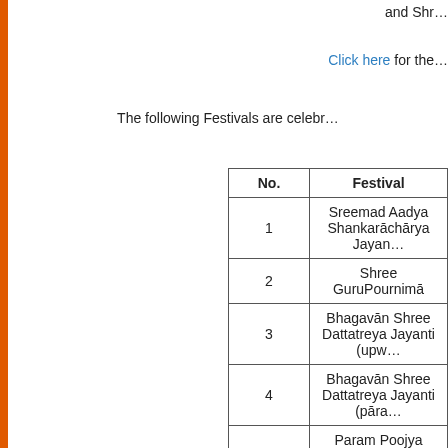and Shr…
Click here for the…
The following Festivals are celebr…
| No. | Festival |
| --- | --- |
| 1 | Sreemad Aadya Shankarāchārya Jayan… |
| 2 | Shree GuruPournimā |
| 3 | Bhagavān Shree Dattatreya Jayanti (upw… |
| 4 | Bhagavān Shree Dattatreya Jayanti (pāra… |
| 5 | Param Poojya Shree Rāmakrishna Saraswati Swāmi Jayanti |